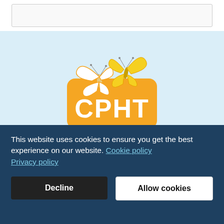[Figure (logo): CPHT (Clifton Practice Hypnotherapy Training) logo with two butterflies on an orange rectangle badge and text below]
[Figure (logo): Elaina Curran CPHT Registered badge — blue badge with circular profile icon and text ELAINA CURRAN REGISTERED]
This website uses cookies to ensure you get the best experience on our website. Cookie policy Privacy policy
Decline
Allow cookies